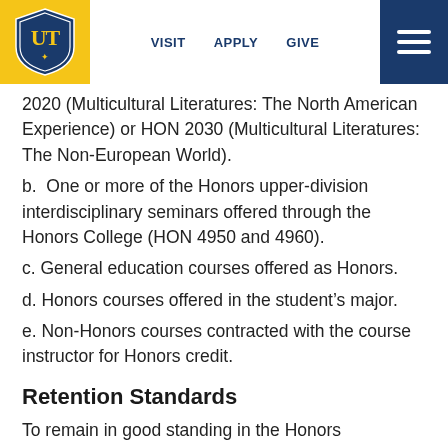VISIT   APPLY   GIVE
2020 (Multicultural Literatures: The North American Experience) or HON 2030 (Multicultural Literatures: The Non-European World).
b.  One or more of the Honors upper-division interdisciplinary seminars offered through the Honors College (HON 4950 and 4960).
c. General education courses offered as Honors.
d. Honors courses offered in the student's major.
e. Non-Honors courses contracted with the course instructor for Honors credit.
Retention Standards
To remain in good standing in the Honors